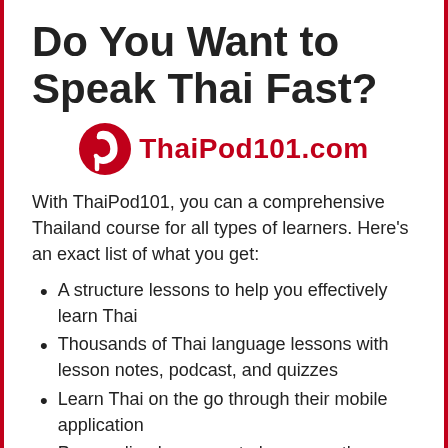Do You Want to Speak Thai Fast?
[Figure (logo): ThaiPod101.com logo — red circular icon with stylized white 'p' letter, followed by red text 'ThaiPod101.com']
With ThaiPod101, you can a comprehensive Thailand course for all types of learners. Here's an exact list of what you get:
A structure lessons to help you effectively learn Thai
Thousands of Thai language lessons with lesson notes, podcast, and quizzes
Learn Thai on the go through their mobile application
Personalized program to learn exactly on what you need